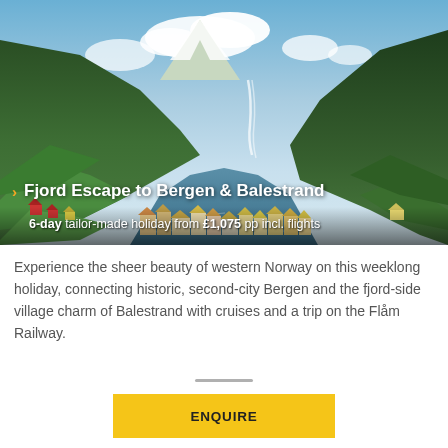[Figure (photo): Scenic photo of a Norwegian fjord with green mountains, blue sky with clouds, a waterfall, and a village with colorful houses along the waterfront.]
Fjord Escape to Bergen & Balestrand
6-day tailor-made holiday from £1,075 pp incl. flights
Experience the sheer beauty of western Norway on this weeklong holiday, connecting historic, second-city Bergen and the fjord-side village charm of Balestrand with cruises and a trip on the Flåm Railway.
ENQUIRE